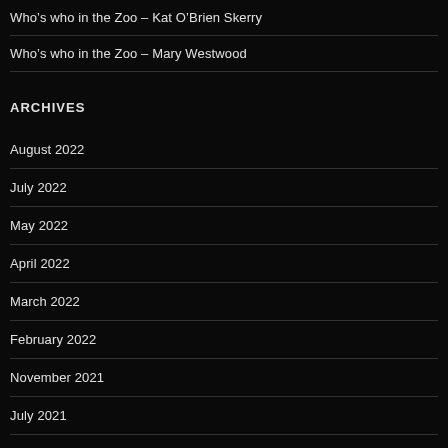Who's who in the Zoo – Kat O'Brien Skerry
Who's who in the Zoo – Mary Westwood
ARCHIVES
August 2022
July 2022
May 2022
April 2022
March 2022
February 2022
November 2021
July 2021